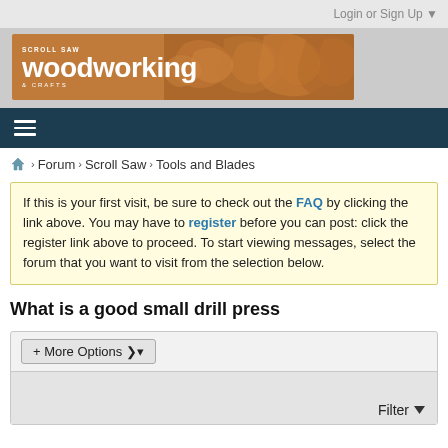Login or Sign Up ▼
[Figure (logo): Scroll Saw Woodworking & Crafts website banner logo with decorative wood carved swirl patterns]
[Figure (other): Dark teal navigation bar with hamburger menu icon (three horizontal lines)]
⌂ > Forum > Scroll Saw > Tools and Blades
If this is your first visit, be sure to check out the FAQ by clicking the link above. You may have to register before you can post: click the register link above to proceed. To start viewing messages, select the forum that you want to visit from the selection below.
What is a good small drill press
+ More Options ▾
Filter ▼